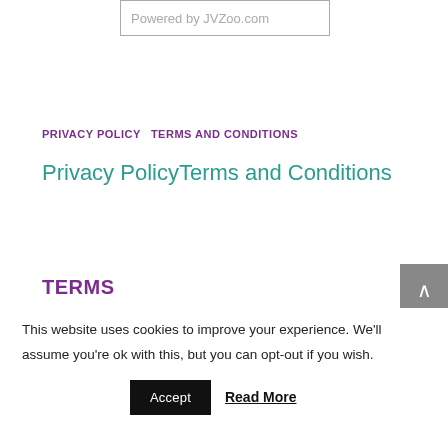[Figure (other): Powered by JVZoo.com logo/badge in a bordered box]
PRIVACY POLICY   TERMS AND CONDITIONS
Privacy PolicyTerms and Conditions
TERMS
This website uses cookies to improve your experience. We'll assume you're ok with this, but you can opt-out if you wish.
Accept   Read More